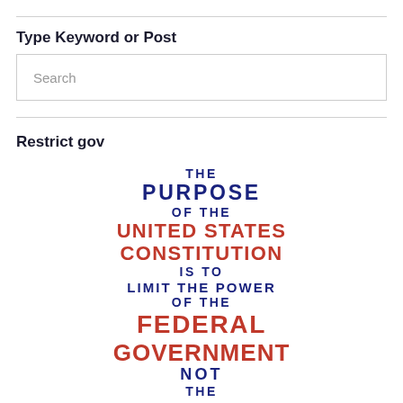Type Keyword or Post
Search
Restrict gov
[Figure (infographic): Text-based infographic reading: THE PURPOSE OF THE UNITED STATES CONSTITUTION IS TO LIMIT THE POWER OF THE FEDERAL GOVERNMENT NOT THE]